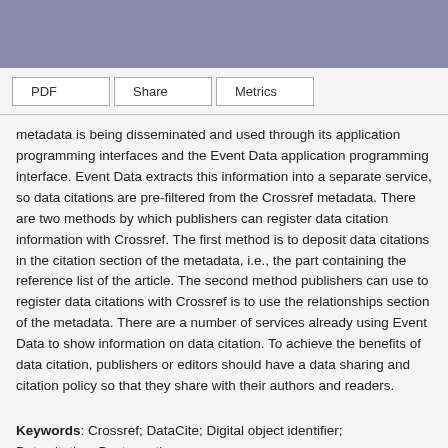PDF  Share  Metrics
metadata is being disseminated and used through its application programming interfaces and the Event Data application programming interface. Event Data extracts this information into a separate service, so data citations are pre-filtered from the Crossref metadata. There are two methods by which publishers can register data citation information with Crossref. The first method is to deposit data citations in the citation section of the metadata, i.e., the part containing the reference list of the article. The second method publishers can use to register data citations with Crossref is to use the relationships section of the metadata. There are a number of services already using Event Data to show information on data citation. To achieve the benefits of data citation, publishers or editors should have a data sharing and citation policy so that they share with their authors and readers.
Keywords: Crossref; DataCite; Digital object identifier; Data citation; Best practice